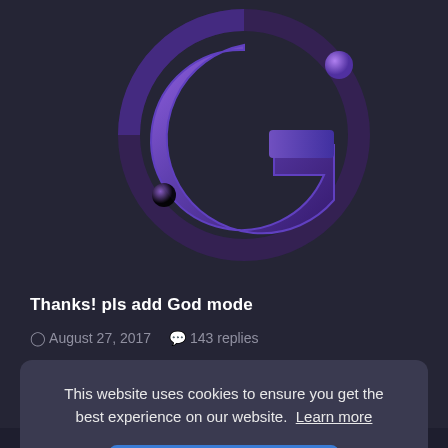[Figure (logo): Purple metallic 3D logo with stylized G letter and circular elements on dark background]
Thanks! pls add God mode
August 27, 2017   143 replies
This website uses cookies to ensure you get the best experience on our website.  Learn more
Got it!
© Copyright 2017 - 2021 iGoCS.com. All rights reserved.